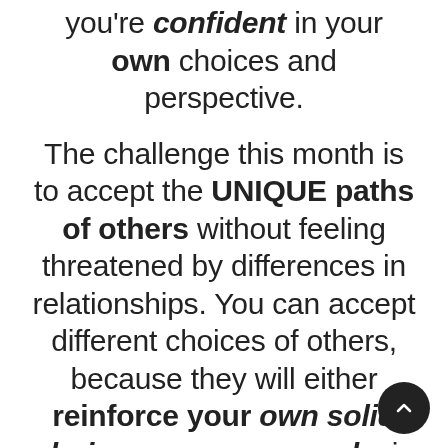you're confident in your own choices and perspective.
The challenge this month is to accept the UNIQUE paths of others without feeling threatened by differences in relationships. You can accept different choices of others, because they will either reinforce your own solid choices or expose cracks in your choices which need to evolve or mature. This is really the key to the whole month.